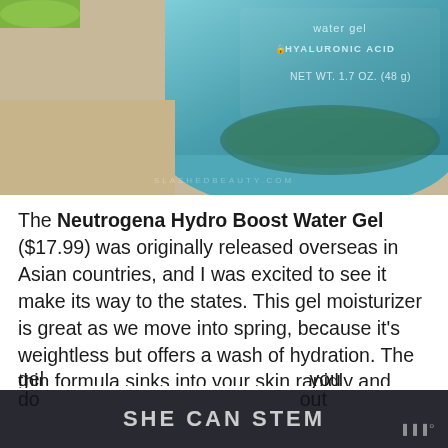[Figure (photo): Close-up photo of a teal/blue Neutrogena Hydro Boost Water Gel jar showing label text 'water gel', 'HYALURONIC ACID', 'NET WT. 1.7 OZ. (48 g)' with watermark 'SLASHEDBEAUTY.COM' at bottom]
The Neutrogena Hydro Boost Water Gel ($17.99) was originally released overseas in Asian countries, and I was excited to see it make its way to the states. This gel moisturizer is great as we move into spring, because it's weightless but offers a wash of hydration. The thin formula sinks into your skin rapidly and leaves it smooth without leaving residue. It contains hyaluronic acid, which is a molecule found naturally in the body that binds water to provide moisture and firmness to the skin. The gel... you do... out
SHE CAN STEM